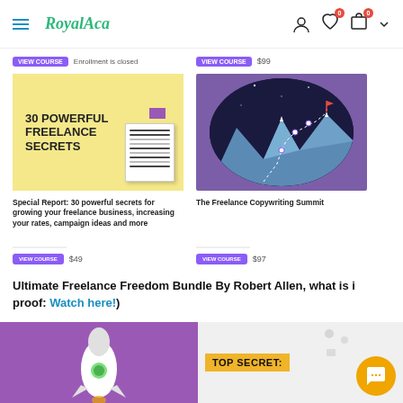RoyalAca — navigation header with hamburger menu, logo, user icon, wishlist (0), cart (0)
[Figure (screenshot): Partial product listings at top showing enroll/price buttons for two products (partially cropped)]
[Figure (illustration): Product card image: '30 POWERFUL FREELANCE SECRETS' on yellow background with document graphic]
Special Report: 30 powerful secrets for growing your freelance business, increasing your rates, campaign ideas and more
$49
[Figure (illustration): Product card image: mountain peak with flag on purple/dark background circle — The Freelance Copywriting Summit]
The Freelance Copywriting Summit
$97
Ultimate Freelance Freedom Bundle By Robert Allen, what is i proof: Watch here!)
[Figure (illustration): Bottom banner with purple background showing a white rocket on the left and a 'TOP SECRET:' label on yellow on the right side, with a gold chat bubble overlay icon in bottom right corner]